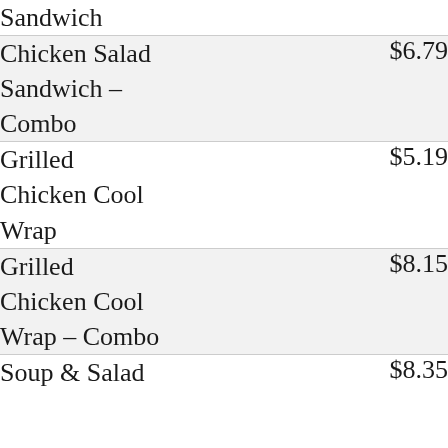| Item | Price |
| --- | --- |
| Sandwich |  |
| Chicken Salad Sandwich – Combo | $6.79 |
| Grilled Chicken Cool Wrap | $5.19 |
| Grilled Chicken Cool Wrap – Combo | $8.15 |
| Soup & Salad | $8.35 |